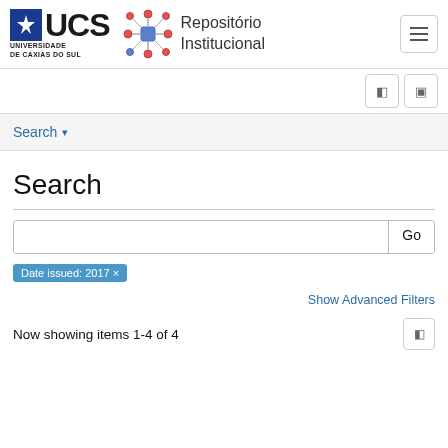[Figure (logo): UCS Universidade de Caxias do Sul logo with blue star box and bold text]
[Figure (logo): Repositório Institucional logo with geometric cube icon and text]
Search ▾
Search
Date issued: 2017 ×
Show Advanced Filters
Now showing items 1-4 of 4